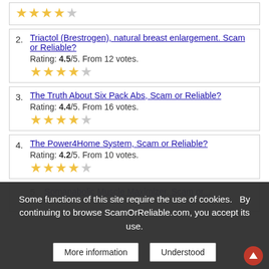(Item 1 - stars only visible at top)
2. Triactol (Brestrogen), natural breast enlargement. Scam or Reliable? Rating: 4.5/5. From 12 votes.
3. The Truth About Six Pack Abs, Scam or Reliable? Rating: 4.4/5. From 16 votes.
4. The Power4Home System, Scam or Reliable? Rating: 4.2/5. From 10 votes.
5. Somanabolic Muscle Maximizer, Scam or... (partially visible)
Some functions of this site require the use of cookies.  By continuing to browse ScamOrReliable.com, you accept its use.
More information | Understood